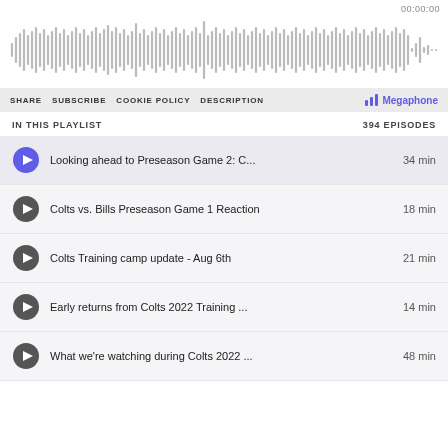00:00:00
[Figure (other): Audio waveform visualization showing varying amplitude bars across the full width]
SHARE  SUBSCRIBE  COOKIE POLICY  DESCRIPTION  Megaphone
IN THIS PLAYLIST  394 EPISODES
Looking ahead to Preseason Game 2: C... 34 min
Colts vs. Bills Preseason Game 1 Reaction 18 min
Colts Training camp update - Aug 6th  21 min
Early returns from Colts 2022 Training ... 14 min
What we're watching during Colts 2022 ...48 min